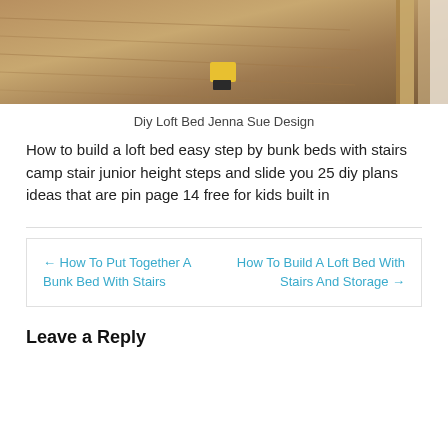[Figure (photo): Photo of a wood floor construction area with yellow tool/device on floor and wooden frame visible on right side]
Diy Loft Bed Jenna Sue Design
How to build a loft bed easy step by bunk beds with stairs camp stair junior height steps and slide you 25 diy plans ideas that are pin page 14 free for kids built in
← How To Put Together A Bunk Bed With Stairs
How To Build A Loft Bed With Stairs And Storage →
Leave a Reply